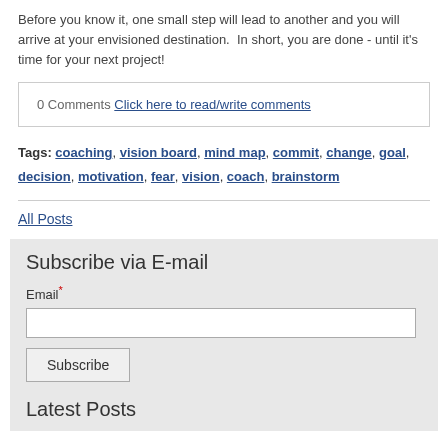Before you know it, one small step will lead to another and you will arrive at your envisioned destination.  In short, you are done - until it's time for your next project!
0 Comments Click here to read/write comments
Tags: coaching, vision board, mind map, commit, change, goal, decision, motivation, fear, vision, coach, brainstorm
All Posts
Subscribe via E-mail
Email*
Subscribe
Latest Posts